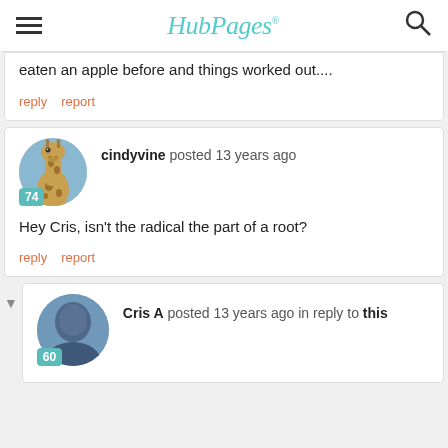HubPages
eaten an apple before and things worked out....
reply   report
cindyvine posted 13 years ago
Hey Cris, isn't the radical the part of a root?
reply   report
Cris A posted 13 years ago in reply to this